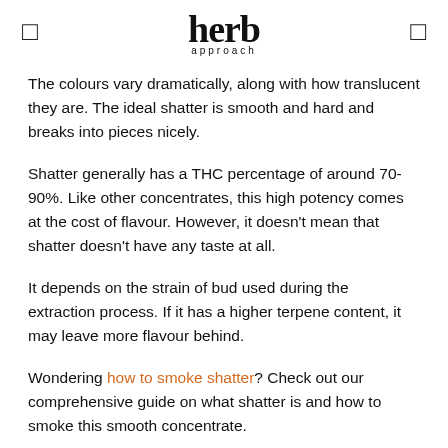herb approach
The colours vary dramatically, along with how translucent they are. The ideal shatter is smooth and hard and breaks into pieces nicely.
Shatter generally has a THC percentage of around 70-90%. Like other concentrates, this high potency comes at the cost of flavour. However, it doesn't mean that shatter doesn't have any taste at all.
It depends on the strain of bud used during the extraction process. If it has a higher terpene content, it may leave more flavour behind.
Wondering how to smoke shatter? Check out our comprehensive guide on what shatter is and how to smoke this smooth concentrate.